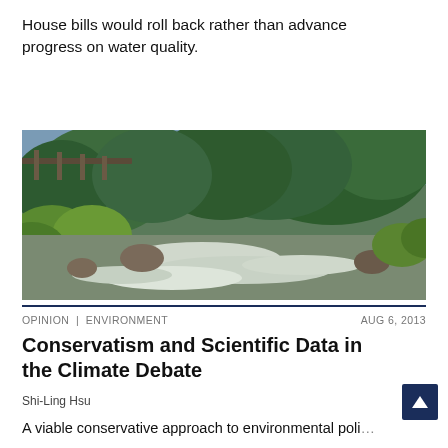House bills would roll back rather than advance progress on water quality.
[Figure (photo): Landscape photo of a river with rushing white water, large green trees and leafy vegetation on both banks, rocky shores, and a wooden bridge structure visible on the upper left.]
OPINION | ENVIRONMENT    AUG 6, 2013
Conservatism and Scientific Data in the Climate Debate
Shi-Ling Hsu
A viable conservative approach to environmental poli…